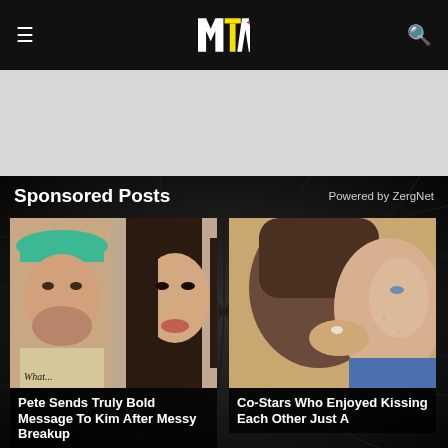MTV
[Figure (other): Gray advertisement banner area below header]
Sponsored Posts    Powered by ZergNet
[Figure (photo): Two people side by side: man in green cap and woman with long dark hair. Text 'What...' written at bottom left.]
Pete Sends Truly Bold Message To Kim After Messy Breakup
[Figure (photo): Close-up photo of two people kissing, woman visible on right side.]
Co-Stars Who Enjoyed Kissing Each Other Just A